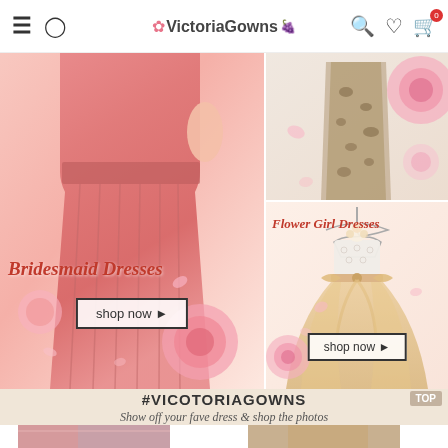VictoriaGowns
[Figure (screenshot): Bridesmaid Dresses banner with pink flowing gown, roses, and shop now button]
[Figure (screenshot): Top-right banner with animal print dress and pink roses]
[Figure (screenshot): Flower Girl Dresses banner with champagne tulle dress, lace bodice, shop now button]
#VICOTORIAGOWNS
Show off your fave dress & shop the photos
[Figure (photo): User photo left - woman in strapless red dress]
[Figure (photo): User photo right - woman in sequined dress]